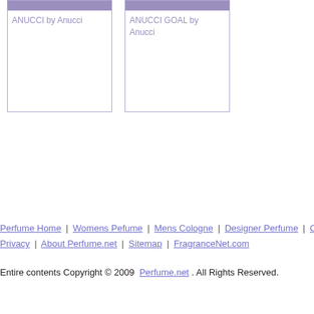[Figure (other): Product card for ANUCCI by Anucci with purple top bar]
ANUCCI by Anucci
[Figure (other): Product card for ANUCCI GOAL by Anucci with purple top bar]
ANUCCI GOAL by Anucci
Perfume Home | Womens Pefume | Mens Cologne | Designer Perfume | Contact P... Privacy | About Perfume.net | Sitemap | FragranceNet.com
Entire contents Copyright © 2009  Perfume.net . All Rights Reserved.